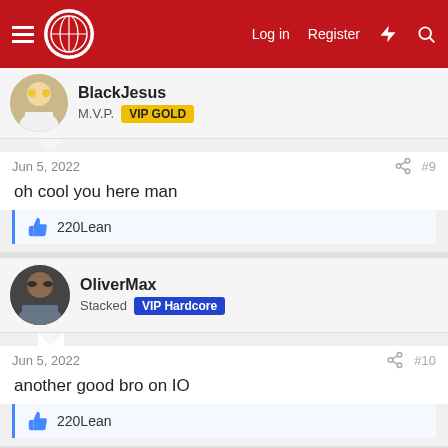Log in | Register
BlackJesus M.V.P. VIP GOLD
Jun 5, 2022 #9
oh cool you here man
220Lean
OliverMax Stacked VIP Hardcore
Jun 5, 2022 #10
another good bro on IO
220Lean
HenryBigLegs